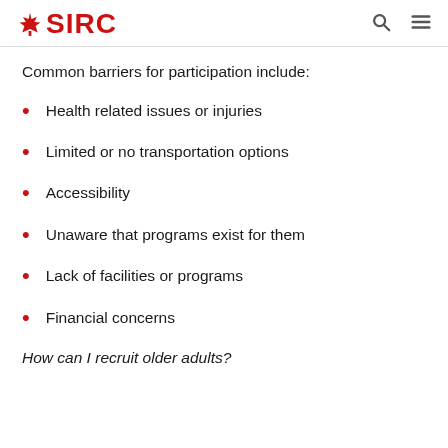SIRC
Common barriers for participation include:
Health related issues or injuries
Limited or no transportation options
Accessibility
Unaware that programs exist for them
Lack of facilities or programs
Financial concerns
How can I recruit older adults?